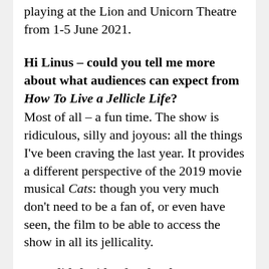playing at the Lion and Unicorn Theatre from 1-5 June 2021.
Hi Linus – could you tell me more about what audiences can expect from How To Live a Jellicle Life?
Most of all – a fun time. The show is ridiculous, silly and joyous: all the things I've been craving the last year. It provides a different perspective of the 2019 movie musical Cats: though you very much don't need to be a fan of, or even have seen, the film to be able to access the show in all its jellicality.
How did the idea for the show come about?